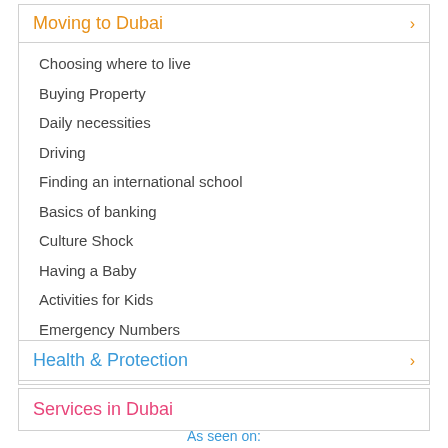Moving to Dubai
Choosing where to live
Buying Property
Daily necessities
Driving
Finding an international school
Basics of banking
Culture Shock
Having a Baby
Activities for Kids
Emergency Numbers
Useful links
Health & Protection
Services in Dubai
As seen on: